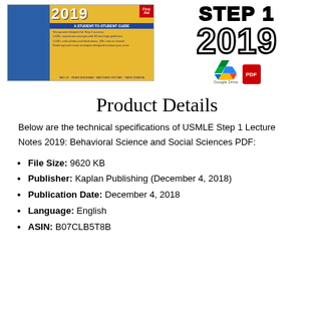[Figure (illustration): Book cover of First Aid for USMLE Step 1 2019 student-to-student guide, shown alongside a large bold '2019' text and Google Drive + PDF icons]
Product Details
Below are the technical specifications of USMLE Step 1 Lecture Notes 2019: Behavioral Science and Social Sciences PDF:
File Size: 9620 KB
Publisher: Kaplan Publishing (December 4, 2018)
Publication Date: December 4, 2018
Language: English
ASIN: B07CLB5T8B